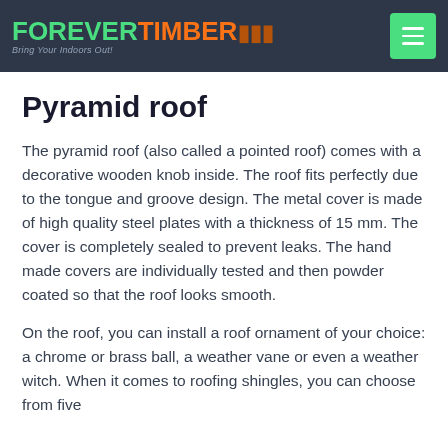FOREVER TIMBER — Bring Your Indoors Out!
Pyramid roof
The pyramid roof (also called a pointed roof) comes with a decorative wooden knob inside. The roof fits perfectly due to the tongue and groove design. The metal cover is made of high quality steel plates with a thickness of 15 mm. The cover is completely sealed to prevent leaks. The hand made covers are individually tested and then powder coated so that the roof looks smooth.
On the roof, you can install a roof ornament of your choice: a chrome or brass ball, a weather vane or even a weather witch. When it comes to roofing shingles, you can choose from five